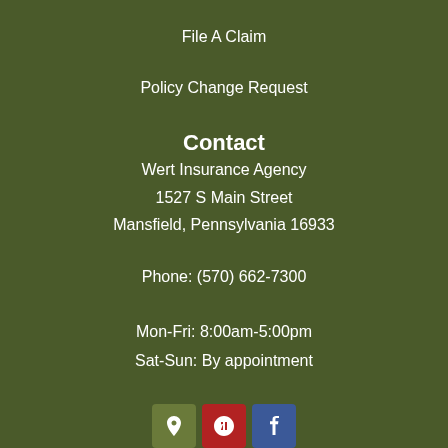File A Claim
Policy Change Request
Contact
Wert Insurance Agency
1527 S Main Street
Mansfield, Pennsylvania 16933
Phone: (570) 662-7300
Mon-Fri: 8:00am-5:00pm
Sat-Sun: By appointment
[Figure (infographic): Three social media / directory icon buttons: a green map pin icon, a red Yelp icon, and a blue Facebook icon]